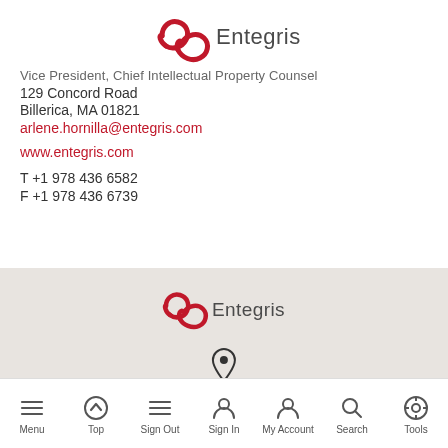[Figure (logo): Entegris logo — red chain-link loops with 'Entegris' in dark gray]
Vice President, Chief Intellectual Property Counsel
129 Concord Road
Billerica, MA 01821
arlene.hornilla@entegris.com
www.entegris.com
T +1 978 436 6582
F +1 978 436 6739
[Figure (logo): Entegris logo on gray background]
WORLDWIDE CONTACTS
Menu | Top | Sign Out | Sign In | My Account | Search | Tools